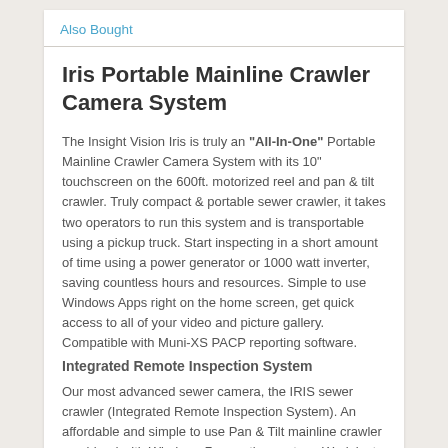Also Bought
Iris Portable Mainline Crawler Camera System
The Insight Vision Iris is truly an “All-In-One” Portable Mainline Crawler Camera System with its 10” touchscreen on the 600ft. motorized reel and pan & tilt crawler. Truly compact & portable sewer crawler, it takes two operators to run this system and is transportable using a pickup truck. Start inspecting in a short amount of time using a power generator or 1000 watt inverter, saving countless hours and resources. Simple to use Windows Apps right on the home screen, get quick access to all of your video and picture gallery. Compatible with Muni-XS PACP reporting software.
Integrated Remote Inspection System
Our most advanced sewer camera, the IRIS sewer crawler (Integrated Remote Inspection System). An affordable and simple to use Pan & Tilt mainline crawler combined with Windows 7 operating system. Work just like your home or work computer with fast boot up for...